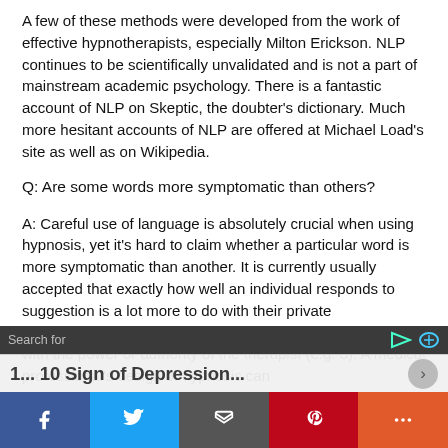A few of these methods were developed from the work of effective hypnotherapists, especially Milton Erickson. NLP continues to be scientifically unvalidated and is not a part of mainstream academic psychology. There is a fantastic account of NLP on Skeptic, the doubter's dictionary. Much more hesitant accounts of NLP are offered at Michael Load's site as well as on Wikipedia.
Q: Are some words more symptomatic than others?
A: Careful use of language is absolutely crucial when using hypnosis, yet it's hard to claim whether a particular word is more symptomatic than another. It is currently usually accepted that exactly how well an individual responds to suggestion is a lot more to do with their private characteristics (suggestibility, desire, absorption) than to do with the power or authority of the therapist (e.g. 3). A medical professional's design of hypnosis can...
Search for | [icons]
1... 10 Sign of Depression... click my fingers...
[Facebook] [Twitter] [Email] [Pinterest] [More]